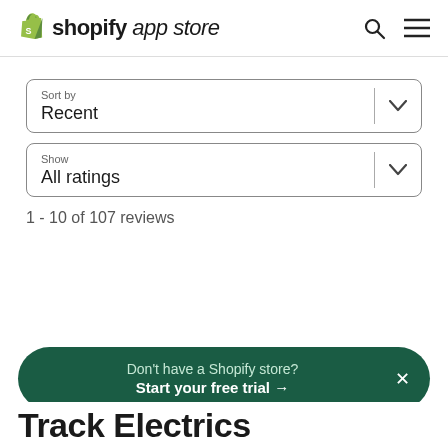shopify app store
Sort by
Recent
Show
All ratings
1 - 10 of 107 reviews
Don't have a Shopify store? Start your free trial →
Track Electrics